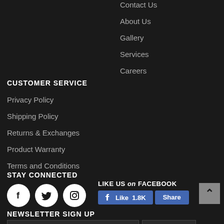Contact Us
About Us
Gallery
Services
Careers
CUSTOMER SERVICE
Privacy Policy
Shipping Policy
Returns & Exchanges
Product Warranty
Terms and Conditions
STAY CONNECTED
[Figure (infographic): Social media icons: Facebook, Twitter, Instagram circles]
LIKE US on FACEBOOK Like 1.8K Share
NEWSLETTER SIGN UP